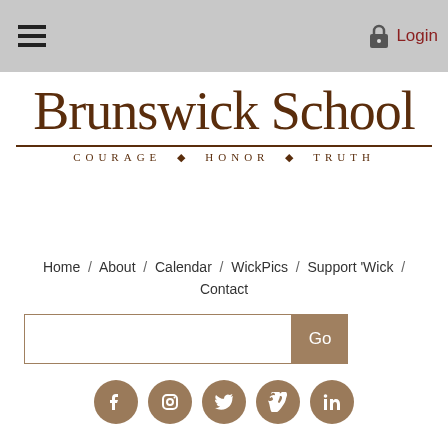Login
[Figure (logo): Brunswick School logo with text 'Brunswick School' and motto 'Courage Honor Truth']
Home / About / Calendar / WickPics / Support 'Wick / Contact
[Figure (other): Search input field with Go button and social media icons for Facebook, Instagram, Twitter, Vimeo, LinkedIn]